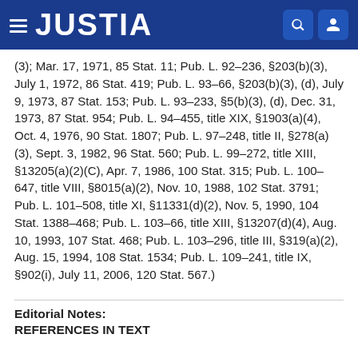JUSTIA
(3); Mar. 17, 1971, 85 Stat. 11; Pub. L. 92–236, §203(b)(3), July 1, 1972, 86 Stat. 419; Pub. L. 93–66, §203(b)(3), (d), July 9, 1973, 87 Stat. 153; Pub. L. 93–233, §5(b)(3), (d), Dec. 31, 1973, 87 Stat. 954; Pub. L. 94–455, title XIX, §1903(a)(4), Oct. 4, 1976, 90 Stat. 1807; Pub. L. 97–248, title II, §278(a)(3), Sept. 3, 1982, 96 Stat. 560; Pub. L. 99–272, title XIII, §13205(a)(2)(C), Apr. 7, 1986, 100 Stat. 315; Pub. L. 100–647, title VIII, §8015(a)(2), Nov. 10, 1988, 102 Stat. 3791; Pub. L. 101–508, title XI, §11331(d)(2), Nov. 5, 1990, 104 Stat. 1388–468; Pub. L. 103–66, title XIII, §13207(d)(4), Aug. 10, 1993, 107 Stat. 468; Pub. L. 103–296, title III, §319(a)(2), Aug. 15, 1994, 108 Stat. 1534; Pub. L. 109–241, title IX, §902(i), July 11, 2006, 120 Stat. 567.)
Editorial Notes:
REFERENCES IN TEXT